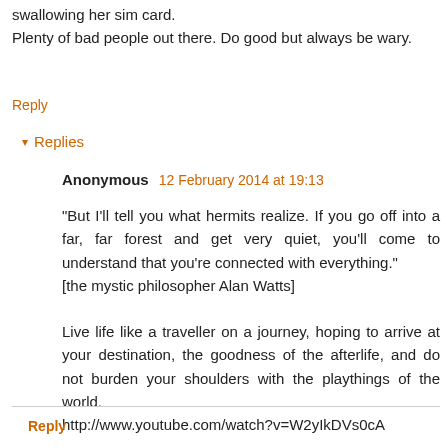swallowing her sim card.
Plenty of bad people out there. Do good but always be wary.
Reply
▾ Replies
Anonymous 12 February 2014 at 19:13
"But I'll tell you what hermits realize. If you go off into a far, far forest and get very quiet, you'll come to understand that you're connected with everything."
[the mystic philosopher Alan Watts]
Live life like a traveller on a journey, hoping to arrive at your destination, the goodness of the afterlife, and do not burden your shoulders with the playthings of the world.
http://www.youtube.com/watch?v=W2yIkDVs0cA
Reply